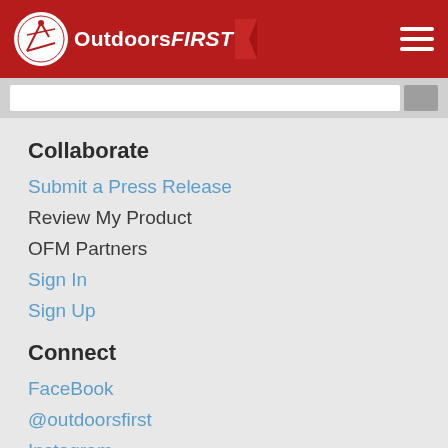OutdoorsFIRST
Collaborate
Submit a Press Release
Review My Product
OFM Partners
Sign In
Sign Up
Connect
FaceBook
@outdoorsfirst
Instagram
YouTube
RSS Feeds